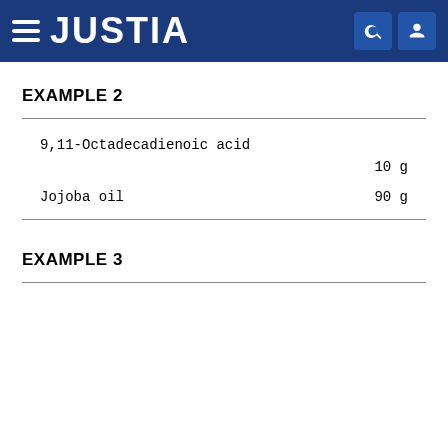JUSTIA
EXAMPLE 2
| Ingredient | Amount |
| --- | --- |
| 9,11-Octadecadienoic acid | 10 g |
| Jojoba oil | 90 g |
EXAMPLE 3